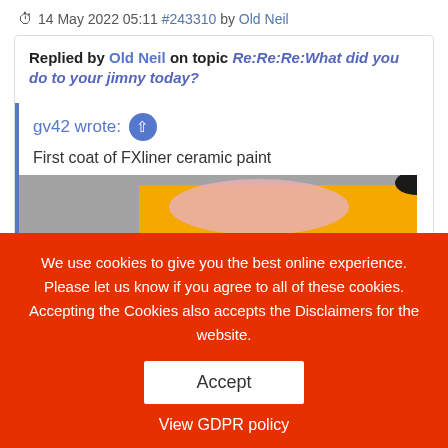14 May 2022 05:11 #243310 by Old Neil
Replied by Old Neil on topic Re:Re:Re:What did you do to your jimny today?
gv42 wrote:
First coat of FXliner ceramic paint
[Figure (photo): Photo showing orange and pink painted panels/objects on a concrete floor with a person's foot visible at top right]
We use cookies to give you the best online experience. Please let us know if you agree to all of these cookies. Accepting the Cookies also accepts the Disclaimers for the website.
Accept
View GDPR policy